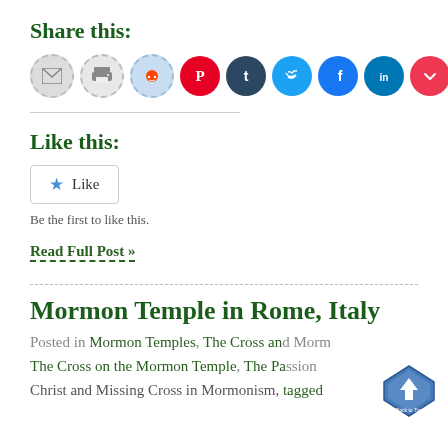Share this:
[Figure (infographic): Row of social sharing icons: email, print, Reddit, Pinterest, Tumblr, Twitter, Facebook, LinkedIn, Pocket, and a More button]
Like this:
[Figure (infographic): Like button widget with star icon and text 'Like']
Be the first to like this.
Read Full Post »
Mormon Temple in Rome, Italy
Posted in Mormon Temples, The Cross and Mormonism, The Cross on the Mormon Temple, The Passion of Christ and Missing Cross in Mormonism, tagged